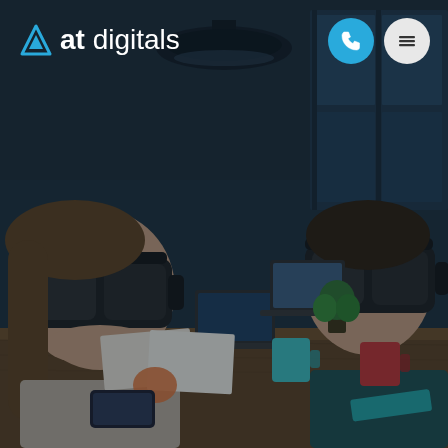[Figure (photo): Two people wearing VR headsets sitting across a wooden table in a dark office environment with laptops, papers, colored mugs and a small plant on the table. Overhead pendant lights visible. Dark moody atmosphere.]
[Figure (logo): AT Digitals logo with blue triangle/mountain icon on the left and 'at digitals' text in white on the right]
[Figure (infographic): Navigation buttons: a blue circle with white phone icon and a light grey circle with horizontal lines (hamburger menu) icon]